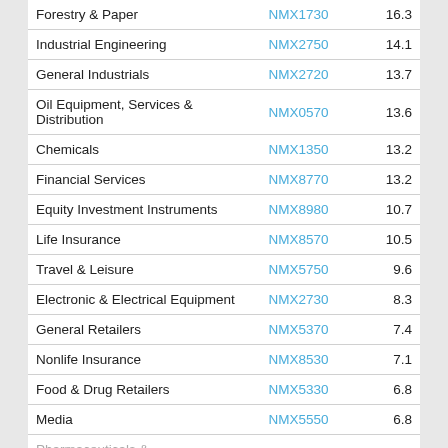| Sector | Code | Value |
| --- | --- | --- |
| Forestry & Paper | NMX1730 | 16.3 |
| Industrial Engineering | NMX2750 | 14.1 |
| General Industrials | NMX2720 | 13.7 |
| Oil Equipment, Services & Distribution | NMX0570 | 13.6 |
| Chemicals | NMX1350 | 13.2 |
| Financial Services | NMX8770 | 13.2 |
| Equity Investment Instruments | NMX8980 | 10.7 |
| Life Insurance | NMX8570 | 10.5 |
| Travel & Leisure | NMX5750 | 9.6 |
| Electronic & Electrical Equipment | NMX2730 | 8.3 |
| General Retailers | NMX5370 | 7.4 |
| Nonlife Insurance | NMX8530 | 7.1 |
| Food & Drug Retailers | NMX5330 | 6.8 |
| Media | NMX5550 | 6.8 |
| Pharmaceuticals & Biotechnology | NMX4570 | 6.1 |